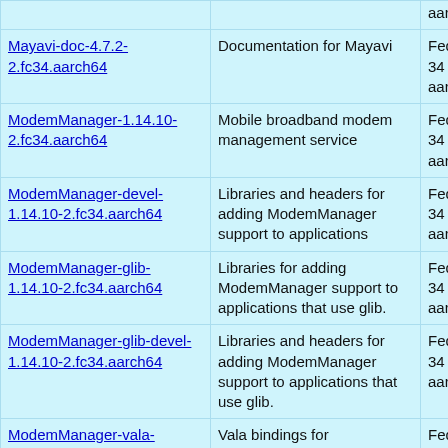| Package | Description | Repo |
| --- | --- | --- |
| (partial top row) |  | aarch64 |
| Mayavi-doc-4.7.2-2.fc34.aarch64 | Documentation for Mayavi | Fedora 34 for aarch64 |
| ModemManager-1.14.10-2.fc34.aarch64 | Mobile broadband modem management service | Fedora 34 for aarch64 |
| ModemManager-devel-1.14.10-2.fc34.aarch64 | Libraries and headers for adding ModemManager support to applications | Fedora 34 for aarch64 |
| ModemManager-glib-1.14.10-2.fc34.aarch64 | Libraries for adding ModemManager support to applications that use glib. | Fedora 34 for aarch64 |
| ModemManager-glib-devel-1.14.10-2.fc34.aarch64 | Libraries and headers for adding ModemManager support to applications that use glib. | Fedora 34 for aarch64 |
| ModemManager-vala-1.14.10-2.fc34.aarch64 | Vala bindings for ModemManager | Fedora 34 for aarch64 |
| MyPasswordSafe-0.6.7-42.20061216.fc34.aarch64 | A graphical password management tool | Fedora 34 for aarch64 |